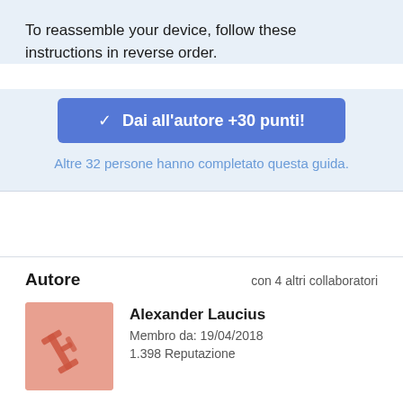To reassemble your device, follow these instructions in reverse order.
✓ Dai all'autore +30 punti!
Altre 32 persone hanno completato questa guida.
Autore
con 4 altri collaboratori
Alexander Laucius
Membro da: 19/04/2018
1.398 Reputazione